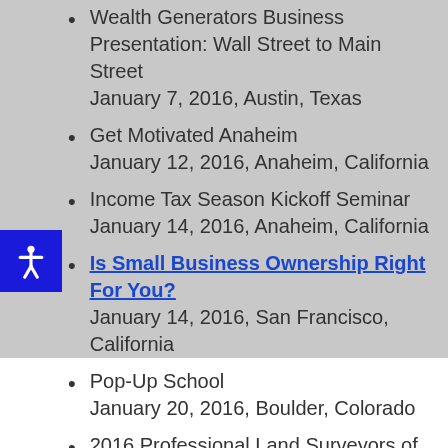Wealth Generators Business Presentation: Wall Street to Main Street
January 7, 2016, Austin, Texas
Get Motivated Anaheim
January 12, 2016, Anaheim, California
Income Tax Season Kickoff Seminar
January 14, 2016, Anaheim, California
Is Small Business Ownership Right For You?
January 14, 2016, San Francisco, California
Pop-Up School
January 20, 2016, Boulder, Colorado
2016 Professional Land Surveyors of